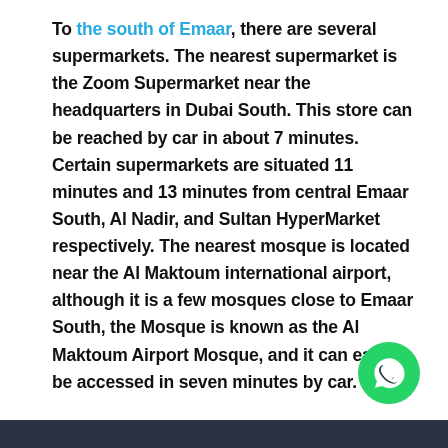To the south of Emaar, there are several supermarkets. The nearest supermarket is the Zoom Supermarket near the headquarters in Dubai South. This store can be reached by car in about 7 minutes. Certain supermarkets are situated 11 minutes and 13 minutes from central Emaar South, Al Nadir, and Sultan HyperMarket respectively. The nearest mosque is located near the Al Maktoum international airport, although it is a few mosques close to Emaar South, the Mosque is known as the Al Maktoum Airport Mosque, and it can easily be accessed in seven minutes by car.
[Figure (logo): WhatsApp icon button — green circle with white phone/chat handset icon]